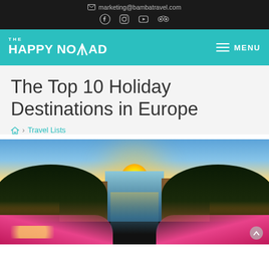marketing@bambatravel.com
The Happy Nomad
MENU
The Top 10 Holiday Destinations in Europe
Home > Travel Lists
[Figure (photo): Panoramic sunset view of Amsterdam canal with colorful flower boxes in foreground, trees lining the canal, traditional Dutch buildings on both sides, and a bright sun setting in the background creating golden reflections on the water.]